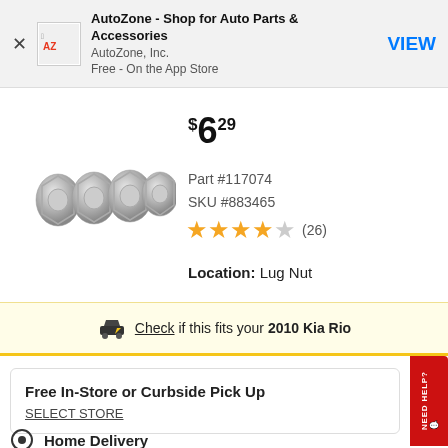AutoZone - Shop for Auto Parts & Accessories | AutoZone, Inc. | Free - On the App Store | VIEW
$6.29
[Figure (photo): Four silver lug nuts arranged in a row]
Part #117074
SKU #883465
★★★★☆ (26)
Location: Lug Nut
Check if this fits your 2010 Kia Rio
Free In-Store or Curbside Pick Up
SELECT STORE
Home Delivery